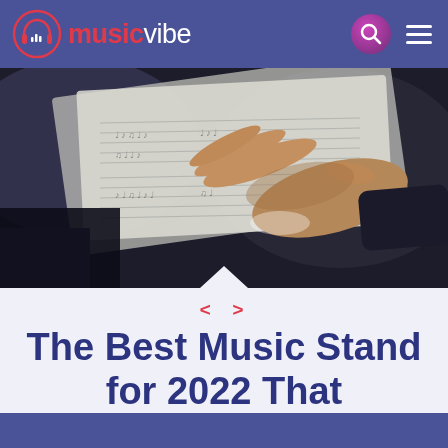musicvibe
[Figure (photo): Close-up photo of a hand turning pages of sheet music on a music stand, dark moody lighting]
The Best Music Stand for 2022 That